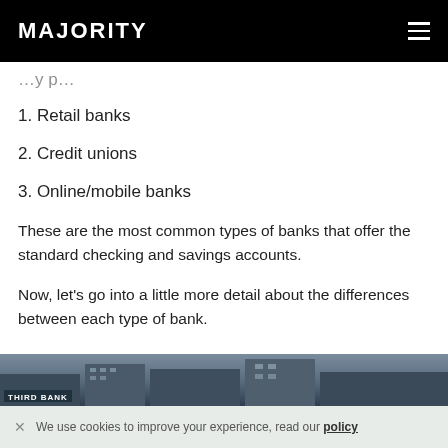MAJORITY
1. Retail banks
2. Credit unions
3. Online/mobile banks
These are the most common types of banks that offer the standard checking and savings accounts.
Now, let’s go into a little more detail about the differences between each type of bank.
[Figure (photo): Aerial/street view photo of bank buildings including a sign reading 'Third Bank']
×  We use cookies to improve your experience, read our policy